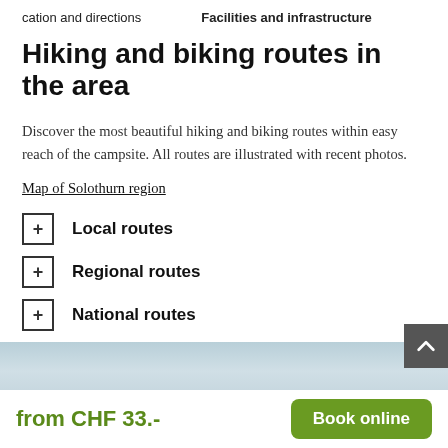cation and directions    Facilities and infrastructure
Hiking and biking routes in the area
Discover the most beautiful hiking and biking routes within easy reach of the campsite. All routes are illustrated with recent photos.
Map of Solothurn region
Local routes
Regional routes
National routes
from CHF 33.-   Book online